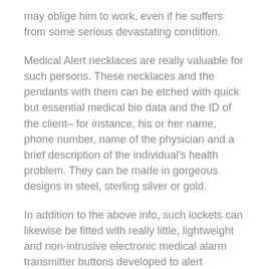may oblige him to work, even if he suffers from some serious devastating condition.
Medical Alert necklaces are really valuable for such persons. These necklaces and the pendants with them can be etched with quick but essential medical bio data and the ID of the client– for instance, his or her name, phone number, name of the physician and a brief description of the individual's health problem. They can be made in gorgeous designs in steel, sterling silver or gold.
In addition to the above info, such lockets can likewise be fitted with really little, lightweight and non-intrusive electronic medical alarm transmitter buttons developed to alert emergency services in the event of a medical issue. If you slip and fall in your restroom and fracture your hip,